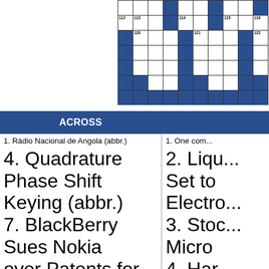[Figure (other): Partial crossword puzzle grid showing numbered cells and blue (filled/black) cells. Visible numbers: 112, 113, 114, 115, 116, 120, 121, 122]
| ACROSS | DOWN (partial) |
| --- | --- |
| 1. Rádio Nacional de Angola (abbr.) | 1. One com... |
| 4. Quadrature Phase Shift Keying (abbr.) | 2. Liqu... Set to... Electro... |
| 7. BlackBerry Sues Nokia over Patents for Network ____ * | 3. Stoc... Micro... |
| 10. Form of digital phase | 4. Har... |